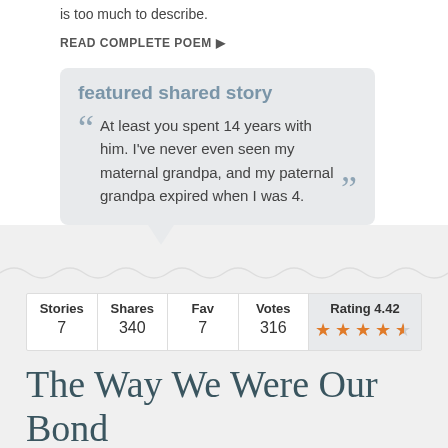is too much to describe.
READ COMPLETE POEM ▶
featured shared story
At least you spent 14 years with him. I've never even seen my maternal grandpa, and my paternal grandpa expired when I was 4.
| Stories | Shares | Fav | Votes | Rating 4.42 |
| --- | --- | --- | --- | --- |
| 7 | 340 | 7 | 316 | ★★★★½ |
The Way We Were Our Bond
By Sinead Harris